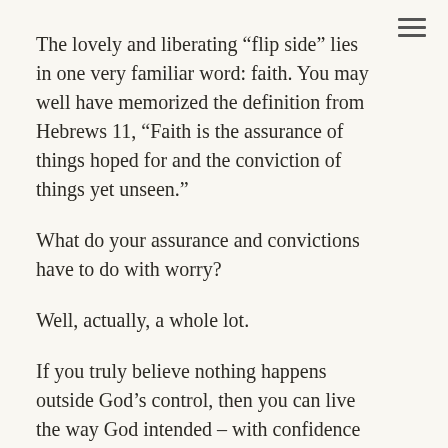The lovely and liberating “flip side” lies in one very familiar word: faith. You may well have memorized the definition from Hebrews 11, “Faith is the assurance of things hoped for and the conviction of things yet unseen.”
What do your assurance and convictions have to do with worry?
Well, actually, a whole lot.
If you truly believe nothing happens outside God’s control, then you can live the way God intended – with confidence that the God who holds all things together will hold you together, too. You can greet the day with a joyful bounce in